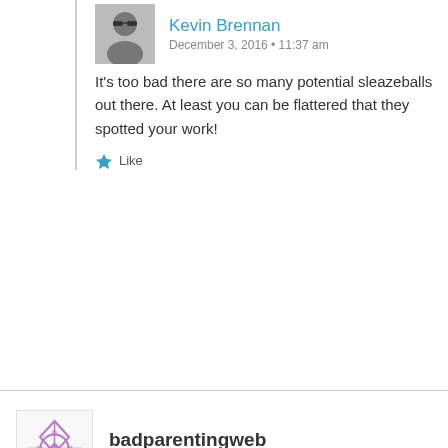Kevin Brennan
December 3, 2016 • 11:37 am
It's too bad there are so many potential sleazeballs out there. At least you can be flattered that they spotted your work!
Like
badparentingweb
December 2, 2016 • 1:56 pm
I'd blame Belfast, if I were you.
Liked by 1 person
Reply ↓
[Figure (photo): Avatar photo of pinklightsabre user]
pinklightsabre
December 2, 2016 • 4:49 pm